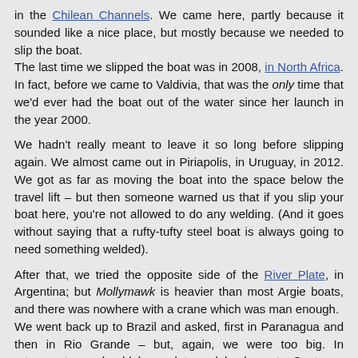in the Chilean Channels. We came here, partly because it sounded like a nice place, but mostly because we needed to slip the boat.
The last time we slipped the boat was in 2008, in North Africa. In fact, before we came to Valdivia, that was the only time that we'd ever had the boat out of the water since her launch in the year 2000.
We hadn't really meant to leave it so long before slipping again. We almost came out in Piriapolis, in Uruguay, in 2012. We got as far as moving the boat into the space below the travel lift – but then someone warned us that if you slip your boat here, you're not allowed to do any welding. (And it goes without saying that a rufty-tufty steel boat is always going to need something welded).
After that, we tried the opposite side of the River Plate, in Argentina; but Mollymawk is heavier than most Argie boats, and there was nowhere with a crane which was man enough.
We went back up to Brazil and asked, first in Paranagua and then in Rio Grande – but, again, we were too big. In retrospect we should have detoured back up to Santos – Santos is where the big Antarctic charter yachts haul out – but we'd heard bad things about the city; and besides, we reckoned that we could press on south and slip the boat in Puerto Deseado.